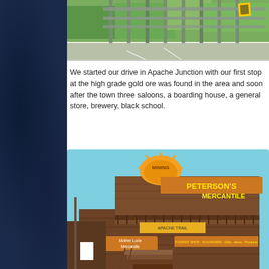[Figure (photo): Top partial photo showing a bridge or overpass with green vegetation and a road surface, cropped at the top of the page]
We started our drive in Apache Junction with our first stop at the high grade gold ore was found in the area and soon after the town three saloons, a boarding house, a general store, brewery, black school.
[Figure (photo): Photo of Peterson's Mercantile, a rustic two-story wooden building with Western-style signage including 'MINING', 'PETERSON'S MERCANTILE', 'Mother Lode Mercantile', and 'Apache Trail' signs. The building has wooden stairs leading up to it against a blue sky background.]